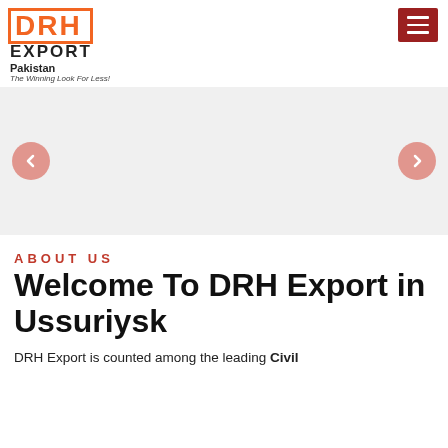[Figure (logo): DRH Export Pakistan logo with orange text and border, tagline 'The Winning Look For Less!']
[Figure (other): Red hamburger menu icon button in top right corner]
[Figure (other): Image slider/carousel area with left and right navigation arrows (pink circular buttons)]
ABOUT US
Welcome To DRH Export in Ussuriysk
DRH Export is counted among the leading Civil